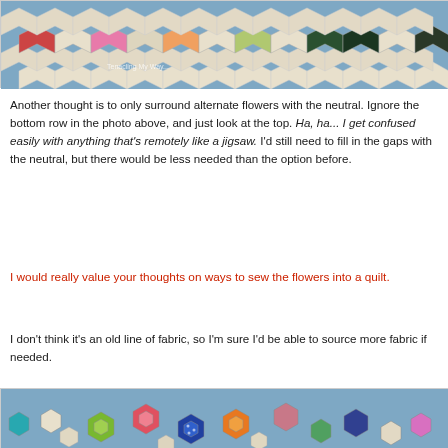[Figure (photo): A row of hexagonal fabric pieces arranged on a blue background. The top row includes colorful patterned hexagons (floral, geometric) and darker ones, while the bottom row has plain cream/neutral hexagons. Watermark text reads 'Tenacling My Way'.]
Another thought is to only surround alternate flowers with the neutral. Ignore the bottom row in the photo above, and just look at the top. Ha, ha... I get confused easily with anything that's remotely like a jigsaw. I'd still need to fill in the gaps with the neutral, but there would be less needed than the option before.
I would really value your thoughts on ways to sew the flowers into a quilt.
I don't think it's an old line of fabric, so I'm sure I'd be able to source more fabric if needed.
[Figure (photo): Colorful hexagonal fabric flower pieces arranged on a blue background, including flowers in green, pink, orange, blue polka dot, and multicolored floral patterns, along with some neutral hexagons.]